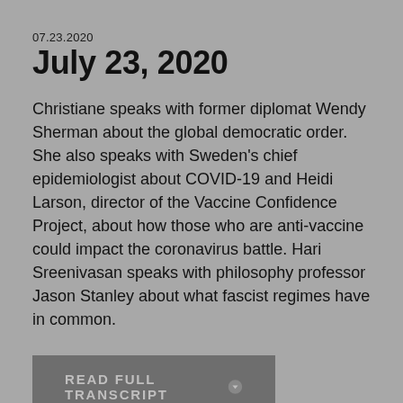07.23.2020
July 23, 2020
Christiane speaks with former diplomat Wendy Sherman about the global democratic order. She also speaks with Sweden's chief epidemiologist about COVID-19 and Heidi Larson, director of the Vaccine Confidence Project, about how those who are anti-vaccine could impact the coronavirus battle. Hari Sreenivasan speaks with philosophy professor Jason Stanley about what fascist regimes have in common.
READ FULL TRANSCRIPT